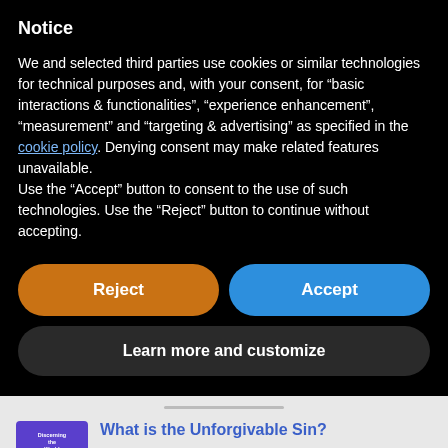Notice
We and selected third parties use cookies or similar technologies for technical purposes and, with your consent, for “basic interactions & functionalities”, “experience enhancement”, “measurement” and “targeting & advertising” as specified in the cookie policy. Denying consent may make related features unavailable.
Use the “Accept” button to consent to the use of such technologies. Use the “Reject” button to continue without accepting.
[Figure (other): Orange Reject button and blue Accept button side by side]
[Figure (other): Dark grey Learn more and customize button]
[Figure (illustration): Thumbnail image for Discerning the World podcast/article with purple background and figure]
What is the Unforgivable Sin?
12 August, 2022 by Tom Lessing (Discerning the World)